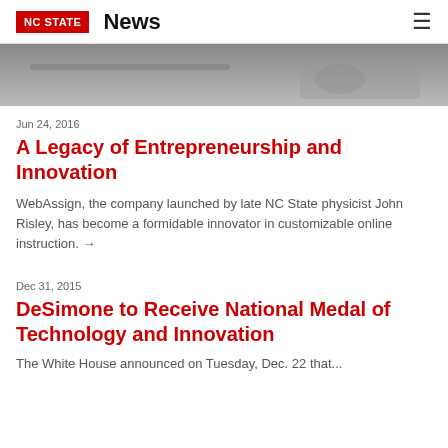NC STATE | News
[Figure (photo): Partial view of a person writing at a desk with a laptop, close-up shot.]
Jun 24, 2016
A Legacy of Entrepreneurship and Innovation
WebAssign, the company launched by late NC State physicist John Risley, has become a formidable innovator in customizable online instruction. →
Dec 31, 2015
DeSimone to Receive National Medal of Technology and Innovation
The White House announced on Tuesday, Dec. 22 that...